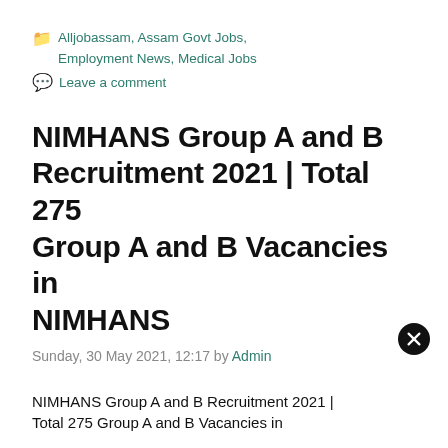Alljobassam, Assam Govt Jobs, Employment News, Medical Jobs
Leave a comment
NIMHANS Group A and B Recruitment 2021 | Total 275 Group A and B Vacancies in NIMHANS
Sunday, 30 May 2021, 12:17 by Admin
NIMHANS Group A and B Recruitment 2021 | Total 275 Group A and B Vacancies in